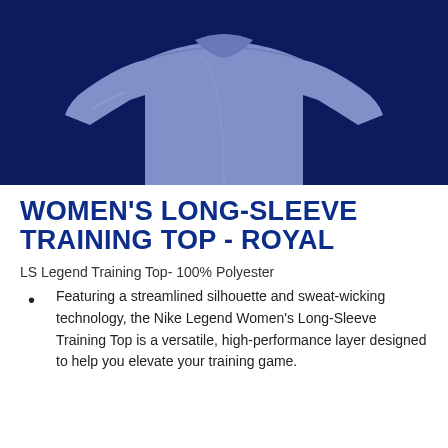[Figure (photo): A women's long-sleeve training top in royal blue/periwinkle color displayed against a dark navy background. The shirt is shown from an angled view displaying the torso and sleeves.]
WOMEN'S LONG-SLEEVE TRAINING TOP - ROYAL
LS Legend Training Top- 100% Polyester
Featuring a streamlined silhouette and sweat-wicking technology, the Nike Legend Women's Long-Sleeve Training Top is a versatile, high-performance layer designed to help you elevate your training game.